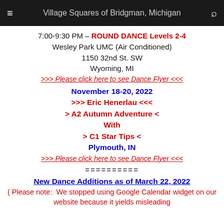≡  Village Squares of Bridgman, Michigan  🔍
7:00-9:30 PM – ROUND DANCE Levels 2-4
Wesley Park UMC (Air Conditioned)
1150 32nd St. SW
Wyoming, MI
>>> Please click here to see Dance Flyer <<<
November 18-20, 2022
>>> Eric Henerlau <<<
> A2 Autumn Adventure <
With
> C1 Star Tips <
Plymouth, IN
>>> Please click here to see Dance Flyer <<<
==========
New Dance Additions as of March 22, 2022
( Please note:  We stopped using Google Calendar widget on our website because it yields misleading